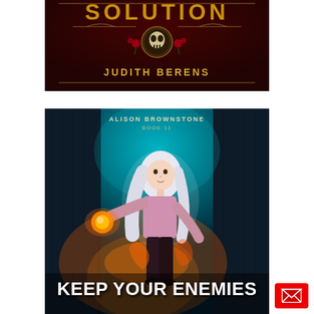[Figure (illustration): Top portion of a book cover with dark red background, ornate skull medallion with roses, title text partially visible reading 'SOLUTION', author name 'JUDITH BERENS' in gold lettering]
[Figure (illustration): Book cover for 'Alison Brownstone Book 11 - Keep Your Enemies' showing a young woman with long white hair wearing a pink top and dark pants, surrounded by orange fire and glowing energy effects, set against a dark urban alley background with teal atmospheric lighting]